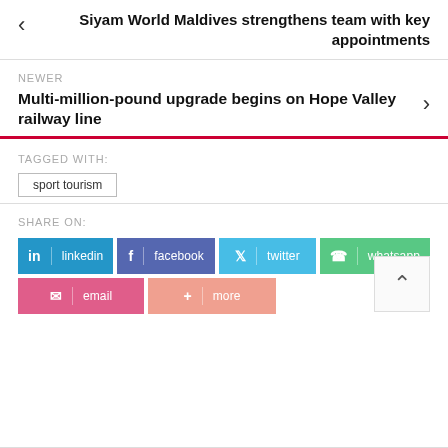Siyam World Maldives strengthens team with key appointments
NEWER
Multi-million-pound upgrade begins on Hope Valley railway line
TAGGED WITH:
sport tourism
SHARE ON:
linkedin | facebook | twitter | whatsapp | email | more